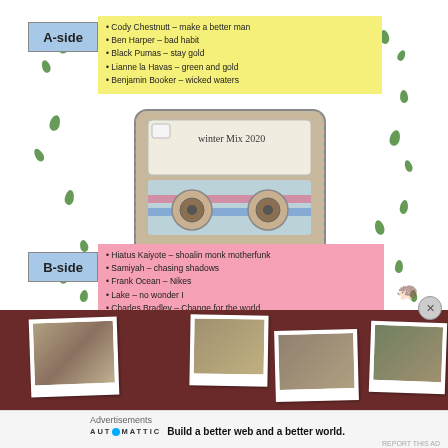[Figure (illustration): Hand-drawn illustration of a cassette tape mixtape labeled 'Winter Mix 2020' with A-side and B-side track lists on yellow and pink sticky note backgrounds, surrounded by scattered green leaf/footprint shapes on white background.]
A-side
• Cody Chestnutt – make a better man
• Ben Harper – bad habit
• Black Pumas – stay gold
• Lianne la Havas – green and gold
• Benjamin Booker – wicked waters
B-side
• Hiatus Kaiyote – shaolin monk motherfunk
• Samiyah – chasing shadows
• Frank Ocean – Nikes
• Lake – no wonder I
• Charles Bradley – Change for the world
[Figure (photo): Photo strip showing several polaroid-style photographs arranged on a dark red/maroon fuzzy background.]
Advertisements
AUTOMATTIC
Build a better web and a better world.